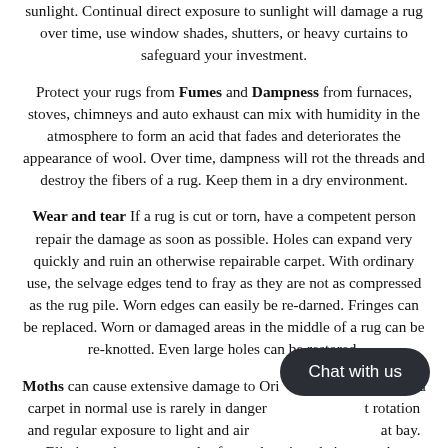rotate your rugs frequently, to equalize the damaging effects of the sunlight. Continual direct exposure to sunlight will damage a rug over time, use window shades, shutters, or heavy curtains to safeguard your investment.
Protect your rugs from Fumes and Dampness from furnaces, stoves, chimneys and auto exhaust can mix with humidity in the atmosphere to form an acid that fades and deteriorates the appearance of wool. Over time, dampness will rot the threads and destroy the fibers of a rug. Keep them in a dry environment.
Wear and tear If a rug is cut or torn, have a competent person repair the damage as soon as possible. Holes can expand very quickly and ruin an otherwise repairable carpet. With ordinary use, the selvage edges tend to fray as they are not as compressed as the rug pile. Worn edges can easily be re-darned. Fringes can be replaced. Worn or damaged areas in the middle of a rug can be re-knotted. Even large holes can be restored.
Moths can cause extensive damage to Oriental rugs, however, a carpet in normal use is rarely in danger from moths, but rotation and regular exposure to light and air usually keeps moths at bay. Eliminate these pests and safeguard against their return by